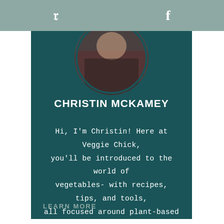[Figure (screenshot): Social media share buttons bar with Pinterest (P) and Facebook (f) icons on a sage/teal-gray background]
[Figure (photo): Circular profile photo of a person holding a baking tray with food items]
CHRISTIN MCKAMEY
Hi, I'm Christin! Here at Veggie Chick, you'll be introduced to the world of vegetables- with recipes, tips, and tools, all focused around plant-based whole foods.
LEARN MORE